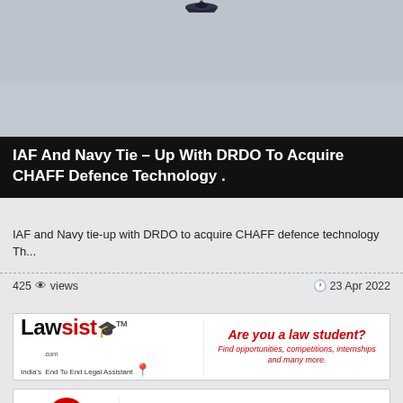[Figure (photo): Sky background with an aircraft silhouette at the top center, light grey-blue sky]
IAF And Navy Tie – Up With DRDO To Acquire CHAFF Defence Technology .
IAF and Navy tie-up with DRDO to acquire CHAFF defence technology Th...
425 views   23 Apr 2022
[Figure (logo): Lawsisto advertisement banner - Are you a law student? Find opportunities, competitions, internships and many more.]
[Figure (logo): Propertified advertisement banner - Do you provide property legal assistance? Get registered today for free..! India's first & largest end to end property legal services facilitator.]